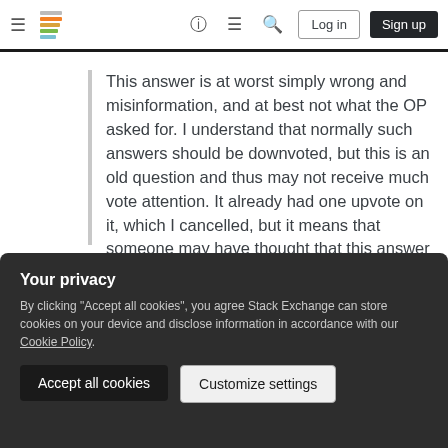Stack Exchange navigation bar with hamburger menu, logo, help, chat, search icons, Log in and Sign up buttons
This answer is at worst simply wrong and misinformation, and at best not what the OP asked for. I understand that normally such answers should be downvoted, but this is an old question and thus may not receive much vote attention. It already had one upvote on it, which I cancelled, but it means that someone may have thought that this answer was correct.
Your privacy
By clicking "Accept all cookies", you agree Stack Exchange can store cookies on your device and disclose information in accordance with our Cookie Policy.
Accept all cookies   Customize settings